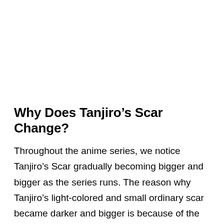Why Does Tanjiro’s Scar Change?
Throughout the anime series, we notice Tanjiro’s Scar gradually becoming bigger and bigger as the series runs. The reason why Tanjiro’s light-colored and small ordinary scar became darker and bigger is because of the incident in the Final selection when he got hit by the Hand Demon and slams his face into the tree because of the impact.